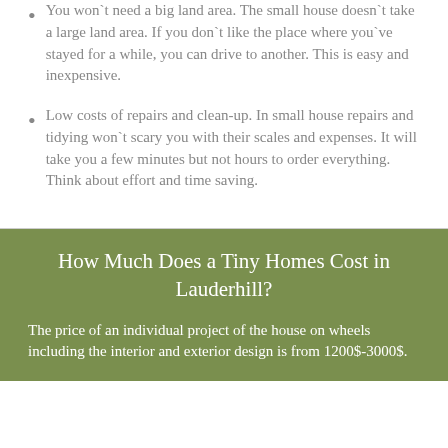You won`t need a big land area. The small house doesn`t take a large land area. If you don`t like the place where you`ve stayed for a while, you can drive to another. This is easy and inexpensive.
Low costs of repairs and clean-up. In small house repairs and tidying won`t scary you with their scales and expenses. It will take you a few minutes but not hours to order everything. Think about effort and time saving.
How Much Does a Tiny Homes Cost in Lauderhill?
The price of an individual project of the house on wheels including the interior and exterior design is from 1200$-3000$.